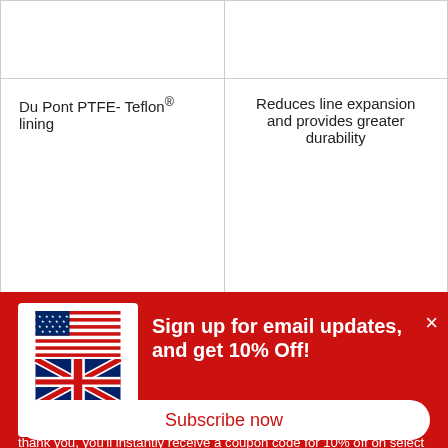|  |  |
| Du Pont PTFE- Teflon® lining | Reduces line expansion and provides greater durability |
[Figure (logo): Essex Parts Services Inc. logo with US and UK flags]
Sign up for email updates, and get 10% Off!
You'll be able to keep tabs on our latest sales and promotions, while also receiving a steady stream of valuable educational materials. As a thank you, you'll instantly receive a coupon code for 10% off on select products from AP Racing, Ferodo, and Spiegler.
Subscribe now